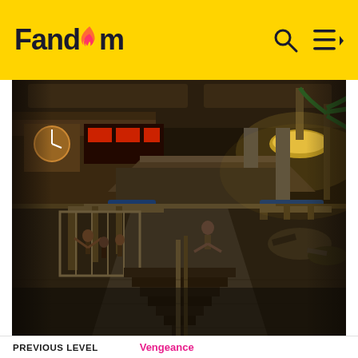Fandom
[Figure (screenshot): Video game screenshot showing an indoor arena or marketplace environment with dramatic lighting, stairs in the foreground, figures in the middle ground, and large ceiling lamps. Scene appears dark and post-apocalyptic or dystopian in style.]
PREVIOUS LEVEL   Vengeance